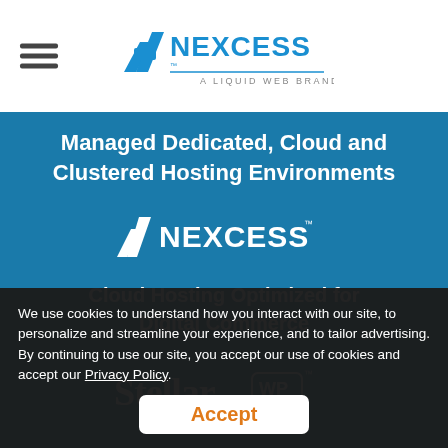[Figure (logo): Nexcess logo with 'N' icon and text 'NEXCESS - A LIQUID WEB BRAND' in the page header]
Managed Dedicated, Cloud and Clustered Hosting Environments
[Figure (logo): Nexcess white logo on teal background]
Cloud Hosting Optimized for Digital Commerce
[Figure (logo): StellarWP logo on teal background]
We use cookies to understand how you interact with our site, to personalize and streamline your experience, and to tailor advertising. By continuing to use our site, you accept our use of cookies and accept our Privacy Policy.